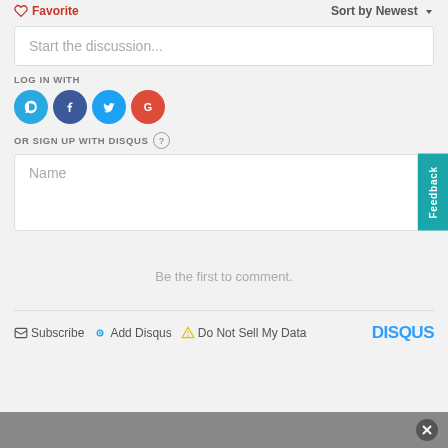Favorite
Sort by Newest
Start the discussion...
LOG IN WITH
[Figure (illustration): Four social login icons: Disqus (blue D), Facebook (dark blue f), Twitter (blue bird), Google (red G)]
OR SIGN UP WITH DISQUS ?
Name
Feedback
Be the first to comment.
Subscribe  Add Disqus  Do Not Sell My Data  DISQUS